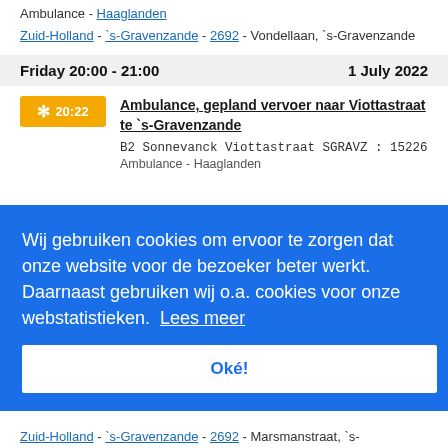Ambulance - Haaglanden
Zuid-Holland - 's-Gravenzande - 2692 - Vondellaan, 's-Gravenzande
Friday 20:00 - 21:00    1 July 2022
20:22  Ambulance, gepland vervoer naar Viottastraat te 's-Gravenzande
B2 Sonnevanck Viottastraat SGRAVZ : 15226
Ambulance - Haaglanden
Wij gebruiken cookies om ervoor te zorgen dat onze website voor de bezoeker beter werkt. Daarnaast gebruiken wij o.a. cookies voor onze webstatistieken.  Lees meer
Oké!
1 July 2022
Zuid-Holland - 's-Gravenzande - 2692 - Marsmanstraat, 's-